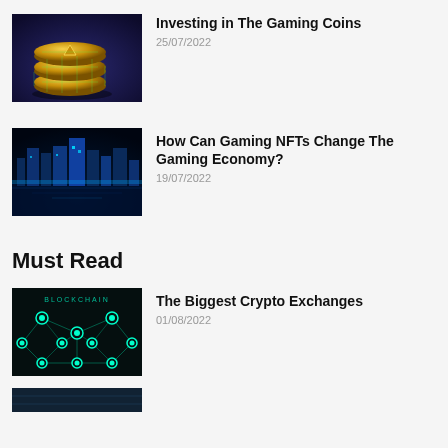[Figure (photo): Stack of gold gaming coins with green grid pattern on dark blue background]
Investing in The Gaming Coins
25/07/2022
[Figure (photo): Futuristic city skyline with blue neon glow reflected on water]
How Can Gaming NFTs Change The Gaming Economy?
19/07/2022
Must Read
[Figure (photo): Blockchain network diagram with teal nodes on black background with BLOCKCHAIN text]
The Biggest Crypto Exchanges
01/08/2022